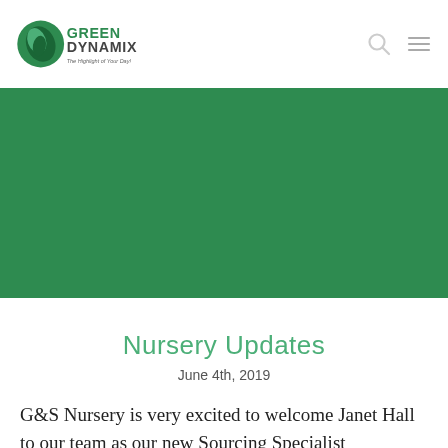Green Dynamix – The Highlight of Your Day!
[Figure (illustration): Green Dynamix logo with circular leaf icon and tagline 'The Highlight of Your Day!']
[Figure (photo): Large dark green banner/hero image area]
Nursery Updates
June 4th, 2019
G&S Nursery is very excited to welcome Janet Hall to our team as our new Sourcing Specialist